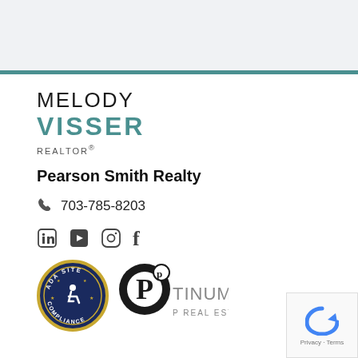[Figure (other): Top gray bar header area]
MELODY VISSER
REALTOR®
Pearson Smith Realty
703-785-8203
[Figure (other): Social media icons: LinkedIn, YouTube, Instagram, Facebook]
[Figure (logo): ADA Site Compliance seal and Platinum Real Estate logo]